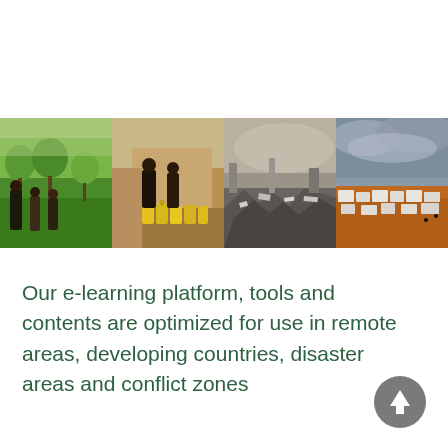[Figure (photo): A horizontal strip of four photos showing: (1) women working in green vegetable fields, (2) people standing next to yellow water jerry cans in a dusty area, (3) rubble and debris from a disaster zone, (4) an aerial view of a refugee camp with orange earth and white shelters under a stormy sky.]
Our e-learning platform, tools and contents are optimized for use in remote areas, developing countries, disaster areas and conflict zones